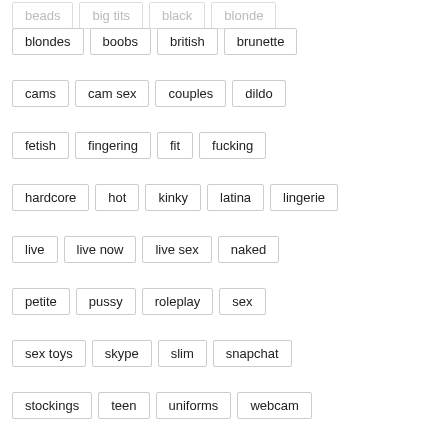blondes
boobs
british
brunette
cams
cam sex
couples
dildo
fetish
fingering
fit
fucking
hardcore
hot
kinky
latina
lingerie
live
live now
live sex
naked
petite
pussy
roleplay
sex
sex toys
skype
slim
snapchat
stockings
teen
uniforms
webcam
Premium Sex Cams